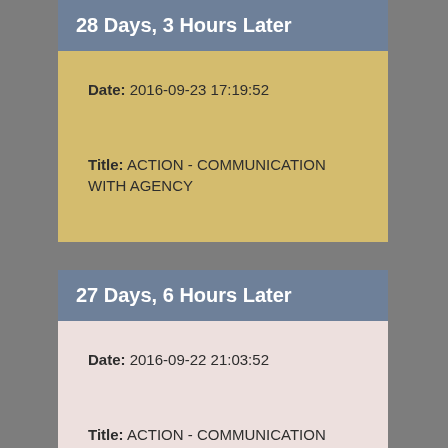28 Days, 3 Hours Later
Date: 2016-09-23 17:19:52
Title: ACTION - COMMUNICATION WITH AGENCY
27 Days, 6 Hours Later
Date: 2016-09-22 21:03:52
Title: ACTION - COMMUNICATION WITH AGENCY